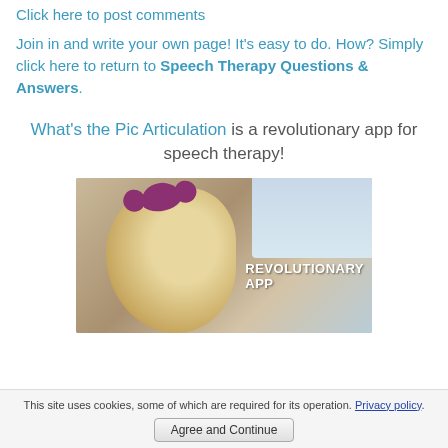Click here to post comments
Join in and write your own page! It's easy to do. How? Simply click here to return to Speech Therapy Questions & Answers.
What's the Pic Articulation is a revolutionary app for speech therapy!
[Figure (photo): A young blonde girl with a purple bow in her hair looking down, with text overlay reading 'REVOLUTIONARY APP']
This site uses cookies, some of which are required for its operation. Privacy policy.
Agree and Continue